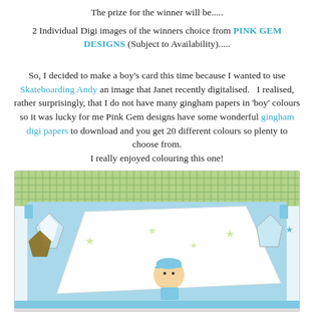The prize for the winner will be..... 2 Individual Digi images of the winners choice from PINK GEM DESIGNS (Subject to Availability).....
So, I decided to make a boy's card this time because I wanted to use Skateboarding Andy an image that Janet recently digitalised.   I realised, rather surprisingly, that I do not have many gingham papers in 'boy' colours so it was lucky for me Pink Gem designs have some wonderful gingham digi papers to download and you get 20 different colours so plenty to choose from. I really enjoyed colouring this one!
[Figure (photo): A handmade boy's card featuring a skateboarding character with a cap, set on green gingham and star-patterned paper with star embellishments.]